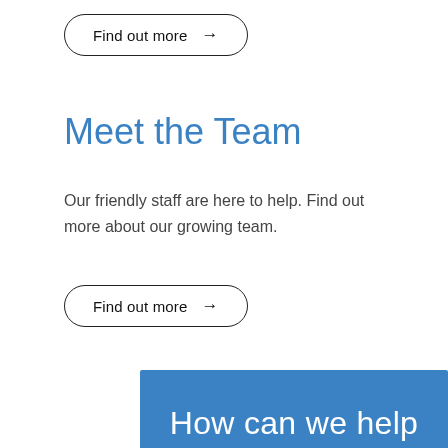[Figure (other): Outlined pill-shaped button with text 'Find out more' and right arrow]
Meet the Team
Our friendly staff are here to help. Find out more about our growing team.
[Figure (other): Outlined pill-shaped button with text 'Find out more' and right arrow]
[Figure (other): Blue banner section with partial text 'How can we help']